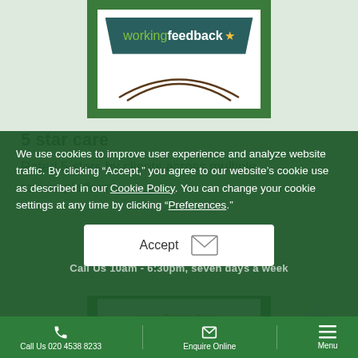[Figure (logo): Working Feedback badge/logo with dark teal banner and star]
5 star care
Rated 5 stars by clients across multiple review platforms.
[Figure (logo): Surrey Care Awards badge partially visible]
We use cookies to improve user experience and analyze website traffic. By clicking “Accept,” you agree to our website’s cookie use as described in our Cookie Policy. You can change your cookie settings at any time by clicking “Preferences.”
Accept
Call Us 020 4538 8233   Enquire Online   Menu